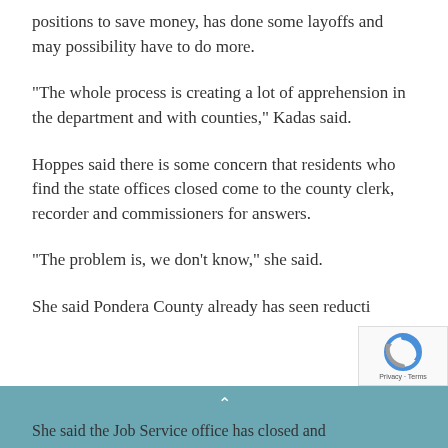positions to save money, has done some layoffs and may possibility have to do more.
“The whole process is creating a lot of apprehension in the department and with counties,” Kadas said.
Hoppes said there is some concern that residents who find the state offices closed come to the county clerk, recorder and commissioners for answers.
“The problem is, we don’t know,” she said.
She said Pondera County already has seen reducti
She said the Job Service office has closed and